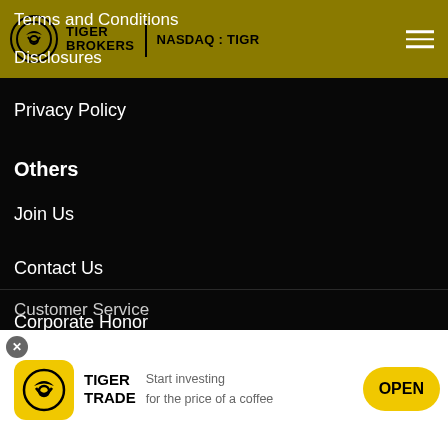TIGER BROKERS | NASDAQ : TIGR
Terms and Conditions
Disclosures
Privacy Policy
Others
Join Us
Contact Us
Corporate Honor
Customer Service
[Figure (screenshot): Tiger Trade app download banner: Tiger Trade logo, text 'Start investing for the price of a coffee', and OPEN button]